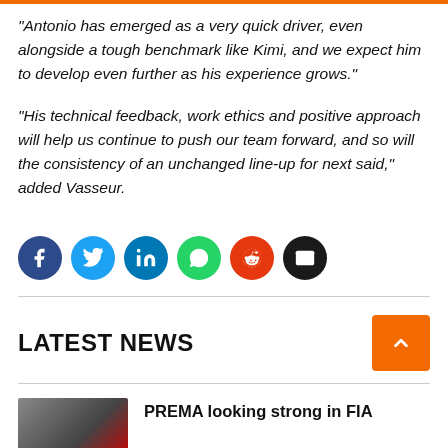“Antonio has emerged as a very quick driver, even alongside a tough benchmark like Kimi, and we expect him to develop even further as his experience grows.”
“His technical feedback, work ethics and positive approach will help us continue to push our team forward, and so will the consistency of an unchanged line-up for next said,” added Vasseur.
[Figure (infographic): Row of 6 social sharing icon circles: Facebook (dark blue), Twitter (light blue), LinkedIn (blue), WhatsApp (green), Reddit (orange-red), Email (black)]
LATEST NEWS
PREMA looking strong in FIA